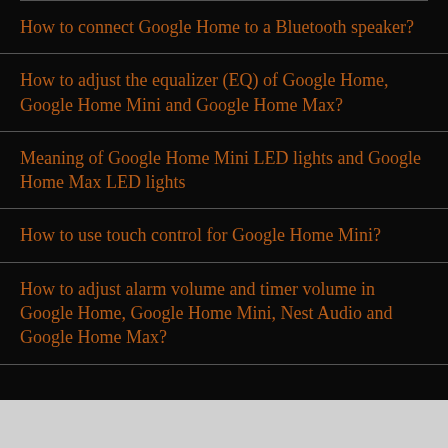How to connect Google Home to a Bluetooth speaker?
How to adjust the equalizer (EQ) of Google Home, Google Home Mini and Google Home Max?
Meaning of Google Home Mini LED lights and Google Home Max LED lights
How to use touch control for Google Home Mini?
How to adjust alarm volume and timer volume in Google Home, Google Home Mini, Nest Audio and Google Home Max?